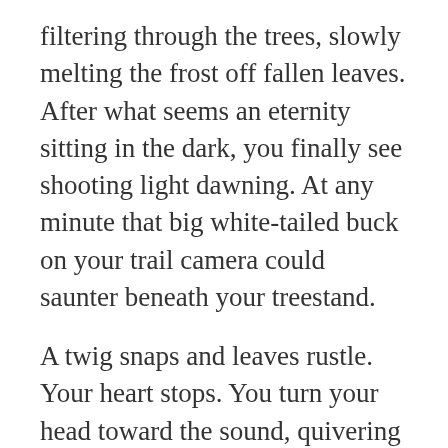filtering through the trees, slowly melting the frost off fallen leaves. After what seems an eternity sitting in the dark, you finally see shooting light dawning. At any minute that big white-tailed buck on your trail camera could saunter beneath your treestand.
A twig snaps and leaves rustle. Your heart stops. You turn your head toward the sound, quivering with the anticipation of spotting big antlers. You see movement. But there’s no rack. It’s just a bushy squirrel tail.
Treestand hunters know squirrels unintentionally cause countless heart pounding adrenaline rushes each fall, even